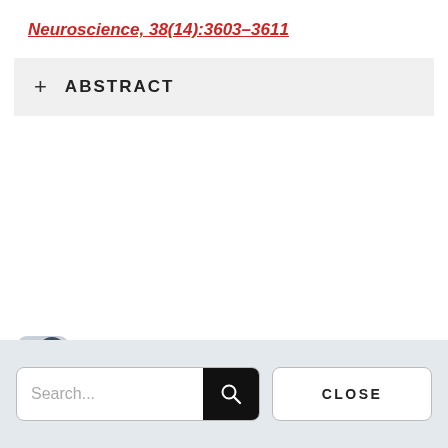Neuroscience, 38(14):3603–3611
ABSTRACT
[Figure (logo): MIND Foundation logo with abstract cube icon in dark blue and red, text 'MIND FOUNDATION']
[Figure (screenshot): Search bar UI with 'Search...' placeholder, magnifying glass button, and CLOSE button]